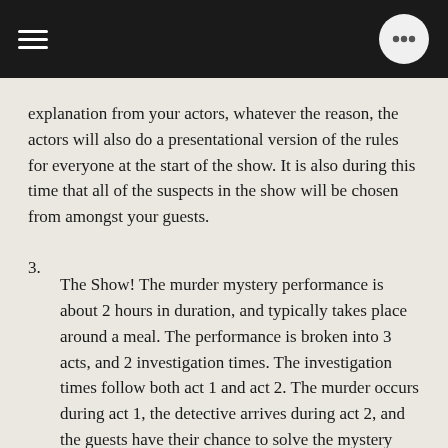explanation from your actors, whatever the reason, the actors will also do a presentational version of the rules for everyone at the start of the show. It is also during this time that all of the suspects in the show will be chosen from amongst your guests.
3. The Show! The murder mystery performance is about 2 hours in duration, and typically takes place around a meal. The performance is broken into 3 acts, and 2 investigation times. The investigation times follow both act 1 and act 2. The murder occurs during act 1, the detective arrives during act 2, and the guests have their chance to solve the mystery during act 3. At the end of the third act, the actors hand out awards and arrest the killer!
4. Post-Show. Once the show is concluded, the actors will briefly make themselves available to your guests for photos and any questions they may have. Your actors will then begin the cleanup and tear down process which